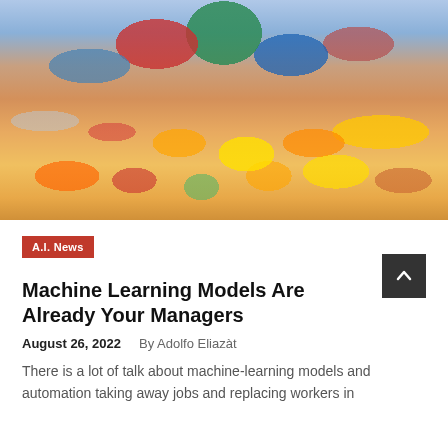[Figure (photo): Colorful collection of toy robots and miniature toy cars spread out on a table at what appears to be a flea market or toy store display]
A.I. News
Machine Learning Models Are Already Your Managers
August 26, 2022    By Adolfo Eliazàt
There is a lot of talk about machine-learning models and automation taking away jobs and replacing workers in